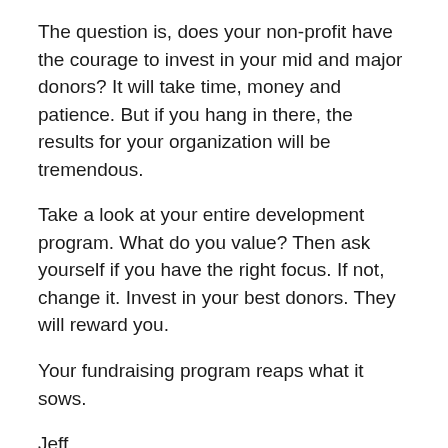The question is, does your non-profit have the courage to invest in your mid and major donors? It will take time, money and patience. But if you hang in there, the results for your organization will be tremendous.
Take a look at your entire development program. What do you value? Then ask yourself if you have the right focus. If not, change it. Invest in your best donors. They will reward you.
Your fundraising program reaps what it sows.
Jeff
PS – To learn more about how to start working differently with mid-level donors. click here to